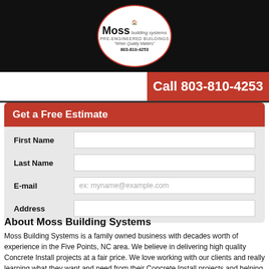[Figure (logo): Moss Building Systems logo — white circle with red border, building silhouette, tagline 'When Quality Matters', phone 803-810-4253, on black background with red call bar showing 'Call 803-810-4253']
Get a Free Estimate
First Name
Last Name
E-mail
Address
About Moss Building Systems
Moss Building Systems is a family owned business with decades worth of experience in the Five Points, NC area. We believe in delivering high quality Concrete Install projects at a fair price. We love working with our clients and really learning what they want and need from their Concrete Install projects and helping them see that vision come to life. Whether the job is big or small we always give the job one hundred percent. If you need assistance with any Concrete Install projects in the Five Points, NC area, please call Moss Building Systems at 803-810-4253 today. We look